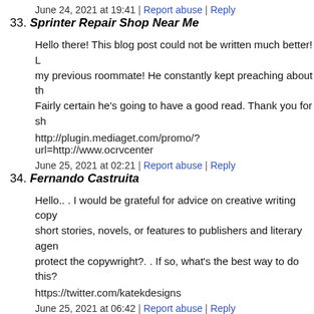June 24, 2021 at 19:41 | Report abuse | Reply
33. Sprinter Repair Shop Near Me
Hello there! This blog post could not be written much better! L my previous roommate! He constantly kept preaching about th Fairly certain he's going to have a good read. Thank you for sh
http://plugin.mediaget.com/promo/?url=http://www.ocrvcenter
June 25, 2021 at 02:21 | Report abuse | Reply
34. Fernando Castruita
Hello.. . I would be grateful for advice on creative writing copy short stories, novels, or features to publishers and literary agen protect the copywright?. . If so, what's the best way to do this?
https://twitter.com/katekdesigns
June 25, 2021 at 06:42 | Report abuse | Reply
35. pharmaceptica.com
sildenafil tablets 100mg buy https://pharmaceptica.com/
June 25, 2021 at 07:30 | Report abuse | Reply
36. solar repair near me